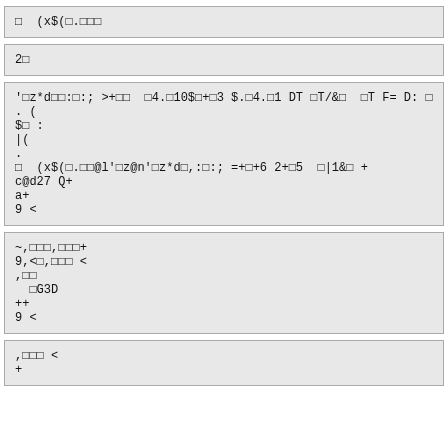□  (x$(□.□□□
2□
'□z*d□□:□:; >+□□  □4.□10$□+□3 $.□4.□1 DT □T/&□  □T F= D: □
. (
$□ :
|(
.
□  (x$(□.□□@l'□z@n'□z*d□,:□:; =+□+6 2+□5  □|1&□ +
c@d27 Q+
a+
9 <
~,□□□,□□□+
9,<□,□□□ <
,□□
  □G3D
++
9 <
,□□□ <
+